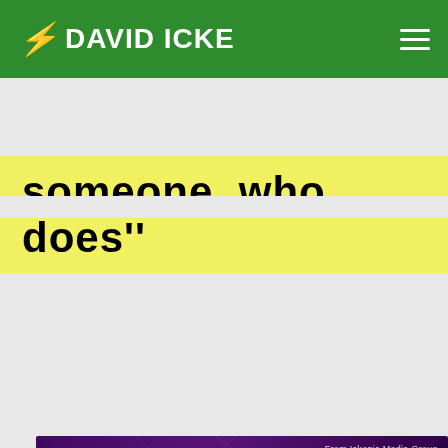DAVID ICKE
someone who does"
[Figure (illustration): Purple promotional banner with geometric line patterns and dots. Text reads: STREAM 30+ YEARS OF INTERVIEWS, EVENTS, SERIES AND NEW WEEKLY PROGRAMS FROM DAVID ICKE EXCLUSIVELY ON ICKONIC -. Label in top right: From Ickonic Media Group.]